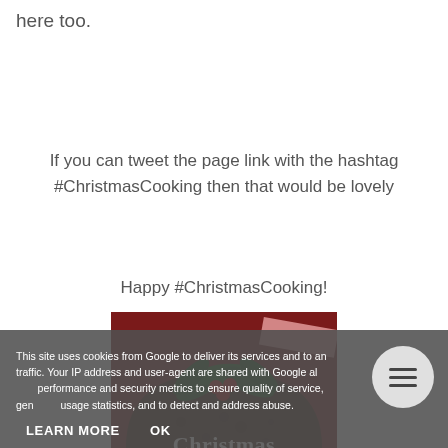here too.
If you can tweet the page link with the hashtag #ChristmasCooking then that would be lovely
Happy #ChristmasCooking!
[Figure (photo): A Christmas pudding topped with holly leaves and red berries, with the word 'Christmas' written across it in white text.]
This site uses cookies from Google to deliver its services and to analyse traffic. Your IP address and user-agent are shared with Google along with performance and security metrics to ensure quality of service, generate usage statistics, and to detect and address abuse.
LEARN MORE    OK